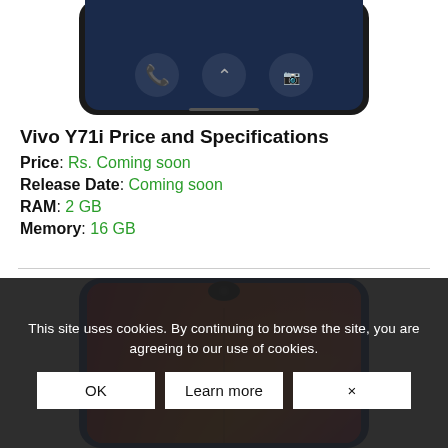[Figure (photo): Top portion of a Vivo Y71i smartphone showing the screen with call interface icons on a dark blue background, partially cropped at top]
Vivo Y71i Price and Specifications
Price: Rs. Coming soon
Release Date: Coming soon
RAM: 2 GB
Memory: 16 GB
[Figure (photo): A Vivo smartphone with a blue frame and a colorful gradient red-orange-pink screen with a waterdrop notch, partially visible]
This site uses cookies. By continuing to browse the site, you are agreeing to our use of cookies.